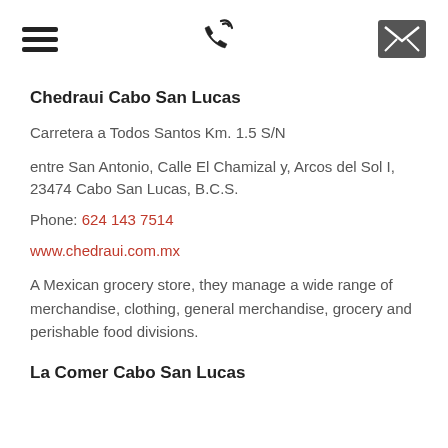[hamburger menu icon] [phone icon] [envelope icon]
Chedraui Cabo San Lucas
Carretera a Todos Santos Km. 1.5 S/N
entre San Antonio, Calle El Chamizal y, Arcos del Sol I, 23474 Cabo San Lucas, B.C.S.
Phone: 624 143 7514
www.chedraui.com.mx
A Mexican grocery store, they manage a wide range of merchandise, clothing, general merchandise, grocery and perishable food divisions.
La Comer Cabo San Lucas